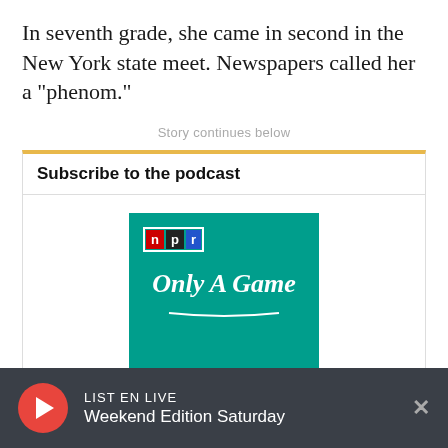In seventh grade, she came in second in the New York state meet. Newspapers called her a "phenom."
Story continues below
Subscribe to the podcast
[Figure (logo): NPR Only A Game podcast logo on teal/green background with NPR logo and 'Only A Game' script text and 'WBUR' below]
LISTEN EN LIVE
Weekend Edition Saturday